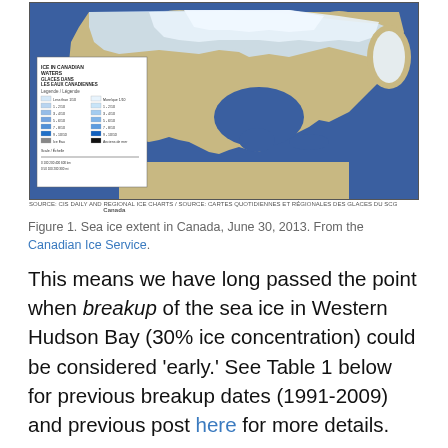[Figure (map): Map of sea ice extent in Canada, June 30, 2013, from the Canadian Ice Service. Shows ice concentration in Canadian waters with a legend (GLACES DANS LES EAUX CANADIENNES). Blue shading indicates ice coverage across northern Canada including Hudson Bay and Arctic regions. Tan/beige coloring indicates ice-free land/water areas.]
Figure 1. Sea ice extent in Canada, June 30, 2013. From the Canadian Ice Service.
This means we have long passed the point when breakup of the sea ice in Western Hudson Bay (30% ice concentration) could be considered ‘early.’ See Table 1 below for previous breakup dates (1991-2009) and previous post here for more details.
Table 1. Calendar dates converted from Julian dates extracted by me (Crockford, PolarBearScience.com, March 21, 2013) from Cherry et al. (2013, in press: Fig. 2). Leap years are accounted for but may still be off by a day or two because of estimating the Julian dates from a graph. I...